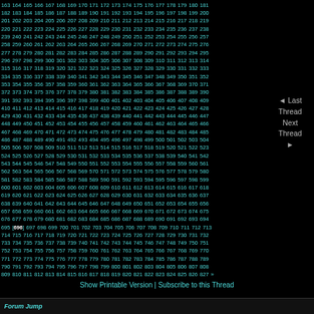163 164 165 166 167 168 169 170 171 172 173 174 175 176 177 178 179 180 181 182 183 184 185 186 187 188 189 190 191 192 193 194 195 196 197 198 199 200 201 202 203 204 205 206 207 208 209 210 211 212 213 214 215 216 217 218 219 220 221 222 223 224 225 226 227 228 229 230 231 232 233 234 235 236 237 238 239 240 241 242 243 244 245 246 247 248 249 250 251 252 253 254 255 256 257 258 259 260 261 262 263 264 265 266 267 268 269 270 271 272 273 274 275 276 277 278 279 280 281 282 283 284 285 286 287 288 289 290 291 292 293 294 295 296 297 298 299 300 301 302 303 304 305 306 307 308 309 310 311 312 313 314 315 316 317 318 319 320 321 322 323 324 325 326 327 328 329 330 331 332 333 334 335 336 337 338 339 340 341 342 343 344 345 346 347 348 349 350 351 352 353 354 355 356 357 358 359 360 361 362 363 364 365 366 367 368 369 370 371 372 373 374 375 376 377 378 379 380 381 382 383 384 385 386 387 388 389 390 391 392 393 394 395 396 397 398 399 400 401 402 403 404 405 406 407 408 409 410 411 412 413 414 415 416 417 418 419 420 421 422 423 424 425 426 427 428 429 430 431 432 433 434 435 436 437 438 439 440 441 442 443 444 445 446 447 448 449 450 451 452 453 454 455 456 457 458 459 460 461 462 463 464 465 466 467 468 469 470 471 472 473 474 475 476 477 478 479 480 481 482 483 484 485 486 487 488 489 490 491 492 493 494 495 496 497 498 499 500 501 502 503 504 505 506 507 508 509 510 511 512 513 514 515 516 517 518 519 520 521 522 523 524 525 526 527 528 529 530 531 532 533 534 535 536 537 538 539 540 541 542 543 544 545 546 547 548 549 550 551 552 553 554 555 556 557 558 559 560 561 562 563 564 565 566 567 568 569 570 571 572 573 574 575 576 577 578 579 580 581 582 583 584 585 586 587 588 589 590 591 592 593 594 595 596 597 598 599 600 601 602 603 604 605 606 607 608 609 610 611 612 613 614 615 616 617 618 619 620 621 622 623 624 625 626 627 628 629 630 631 632 633 634 635 636 637 638 639 640 641 642 643 644 645 646 647 648 649 650 651 652 653 654 655 656 657 658 659 660 661 662 663 664 665 666 667 668 669 670 671 672 673 674 675 676 677 678 679 680 681 682 683 684 685 686 687 688 689 690 691 692 693 694 695 [696] 697 698 699 700 701 702 703 704 705 706 707 708 709 710 711 712 713 714 715 716 717 718 719 720 721 722 723 724 725 726 727 728 729 730 731 732 733 734 735 736 737 738 739 740 741 742 743 744 745 746 747 748 749 750 751 752 753 754 755 756 757 758 759 760 761 762 763 764 765 766 767 768 769 770 771 772 773 774 775 776 777 778 779 780 781 782 783 784 785 786 787 788 789 790 791 792 793 794 795 796 797 798 799 800 801 802 803 804 805 806 807 808 809 810 811 812 813 814 815 816 817 818 819 820 821 822 823 824 825 826 827 »
◄ Last Thread
Next Thread ►
Show Printable Version | Subscribe to this Thread
Forum Jump